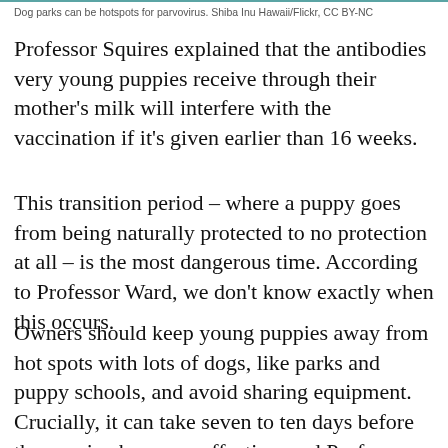Dog parks can be hotspots for parvovirus. Shiba Inu Hawaii/Flickr, CC BY-NC
Professor Squires explained that the antibodies very young puppies receive through their mother's milk will interfere with the vaccination if it's given earlier than 16 weeks.
This transition period – where a puppy goes from being naturally protected to no protection at all – is the most dangerous time. According to Professor Ward, we don't know exactly when this occurs.
Owners should keep young puppies away from hot spots with lots of dogs, like parks and puppy schools, and avoid sharing equipment. Crucially, it can take seven to ten days before the vaccine becomes effective, and Professor Ward said he has seen cases of puppies becoming infected during that critical window.